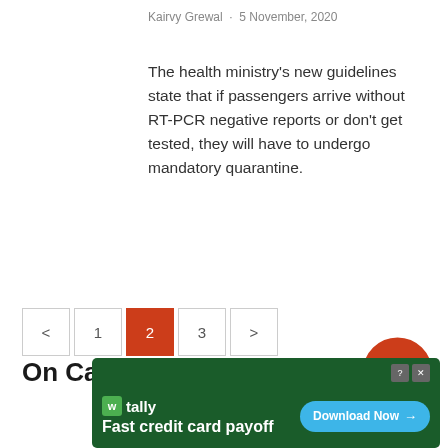Kairvy Grewal · 5 November, 2020
The health ministry's new guidelines state that if passengers arrive without RT-PCR negative reports or don't get tested, they will have to undergo mandatory quarantine.
[Figure (other): Pagination control showing back arrow, pages 1, 2 (active/highlighted in orange-red), 3, and forward arrow]
[Figure (logo): The Print circular logo — orange-red circle with white text 'The Print']
On Camera
Advertisement
[Figure (screenshot): Tally advertisement banner with text 'Fast credit card payoff' and a 'Download Now' button on dark green background]